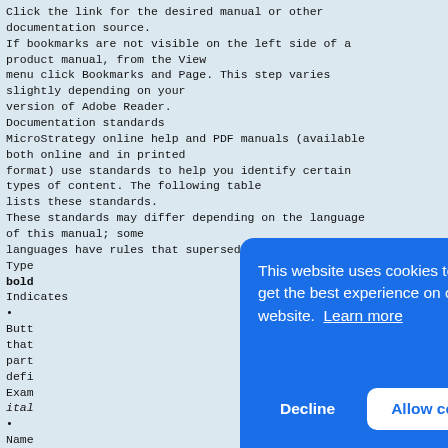Click the link for the desired manual or other documentation source.
If bookmarks are not visible on the left side of a product manual, from the View
menu click Bookmarks and Page. This step varies slightly depending on your
version of Adobe Reader.
Documentation standards
MicroStrategy online help and PDF manuals (available both online and in printed
format) use standards to help you identify certain types of content. The following table
lists these standards.
These standards may differ depending on the language of this manual; some
languages have rules that supersede the table below.
Type
bold
Indicates
•
Butt[...] that[...] part[...] defi[...]
Exam[...] ital[...]
•
Name[...] reso[...]
•
When[...]
information to be replaced by the
[Figure (screenshot): Cookie consent overlay banner with blue background, message 'This website uses cookies to ensure you get the best experience on our website. Learn more', and two buttons: 'Decline' and 'Allow cookies']